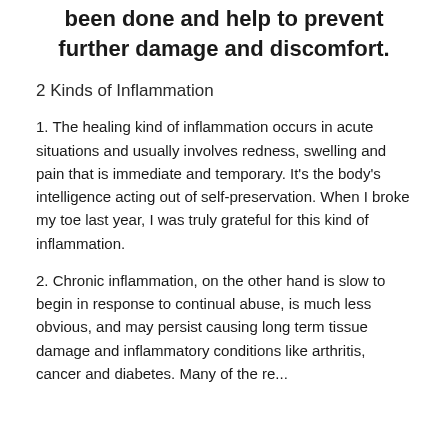been done and help to prevent further damage and discomfort.
2 Kinds of Inflammation
1. The healing kind of inflammation occurs in acute situations and usually involves redness, swelling and pain that is immediate and temporary. It's the body's intelligence acting out of self-preservation. When I broke my toe last year, I was truly grateful for this kind of inflammation.
2. Chronic inflammation, on the other hand is slow to begin in response to continual abuse, is much less obvious, and may persist causing long term tissue damage and inflammatory conditions like arthritis, cancer and diabetes. Many of the re...